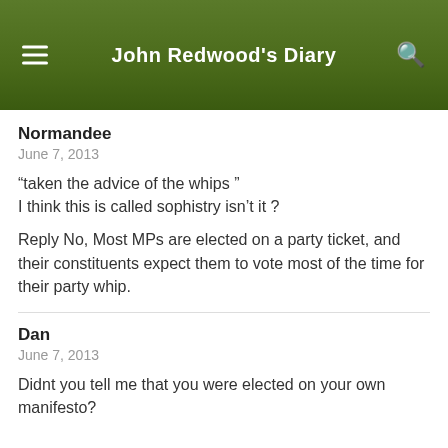John Redwood's Diary
Normandee
June 7, 2013
“taken the advice of the whips ”
I think this is called sophistry isn’t it ?
Reply No, Most MPs are elected on a party ticket, and their constituents expect them to vote most of the time for their party whip.
Dan
June 7, 2013
Didnt you tell me that you were elected on your own manifesto?